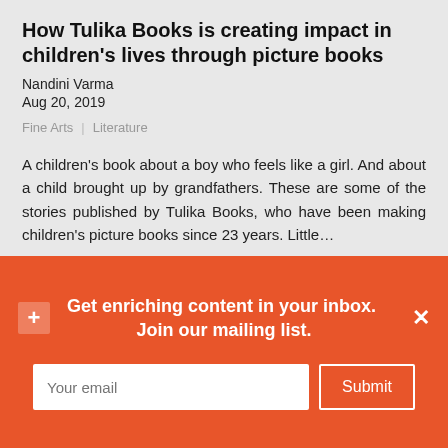How Tulika Books is creating impact in children's lives through picture books
Nandini Varma
Aug 20, 2019
Fine Arts  |  Literature
A children's book about a boy who feels like a girl. And about a child brought up by grandfathers. These are some of the stories published by Tulika Books, who have been making children's picture books since 23 years. Little…
[Figure (photo): Romeo & Juliet banner — dark background with Shakespeare's Globe logo, text 'WILLIAM SHAKESPEARE ROMEO & JULIET', a close button (×), left arrow, and an orange square badge with 'cy' symbol]
Get enriching content in your inbox.  Join our mailing list.